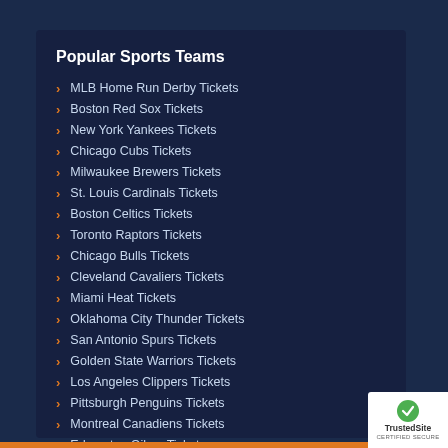Popular Sports Teams
MLB Home Run Derby Tickets
Boston Red Sox Tickets
New York Yankees Tickets
Chicago Cubs Tickets
Milwaukee Brewers Tickets
St. Louis Cardinals Tickets
Boston Celtics Tickets
Toronto Raptors Tickets
Chicago Bulls Tickets
Cleveland Cavaliers Tickets
Miami Heat Tickets
Oklahoma City Thunder Tickets
San Antonio Spurs Tickets
Golden State Warriors Tickets
Los Angeles Clippers Tickets
Pittsburgh Penguins Tickets
Montreal Canadiens Tickets
Edmonton Oilers Tickets
Anaheim Ducks Tickets
MLB All-Star Game Tickets